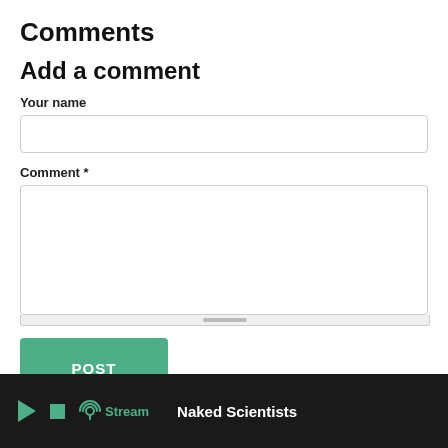Comments
Add a comment
Your name
[Figure (screenshot): Empty text input field for name]
Comment *
[Figure (screenshot): Large empty textarea for comment with scrollbar]
[Figure (screenshot): POST button in green]
▶ ■ Stream  Naked Scientists